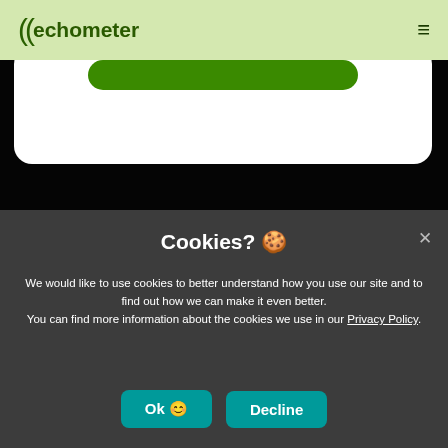((echometer  ≡
[Figure (screenshot): White card with green button partially visible at top, over black background]
Cookies? 🍪
We would like to use cookies to better understand how you use our site and to find out how we can make it even better.
You can find more information about the cookies we use in our Privacy Policy.
Ok 😊   Decline